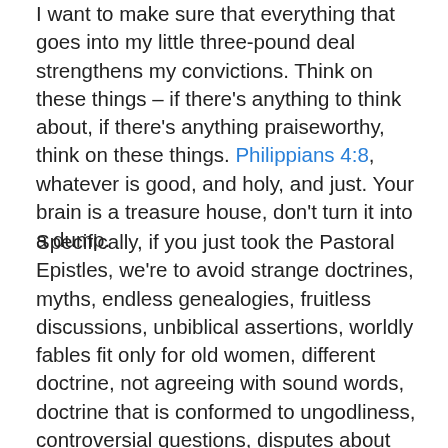I want to make sure that everything that goes into my little three-pound deal strengthens my convictions. Think on these things – if there's anything to think about, if there's anything praiseworthy, think on these things. Philippians 4:8, whatever is good, and holy, and just. Your brain is a treasure house, don't turn it into a dump.
Specifically, if you just took the Pastoral Epistles, we're to avoid strange doctrines, myths, endless genealogies, fruitless discussions, unbiblical assertions, worldly fables fit only for old women, different doctrine, not agreeing with sound words, doctrine that is conformed to ungodliness, controversial questions, disputes about words, unholy empty babble, opposing arguments of what is falsely called science, battles over words, useless talk which spreads like gangrene, and now foolish and ignorant speculations.